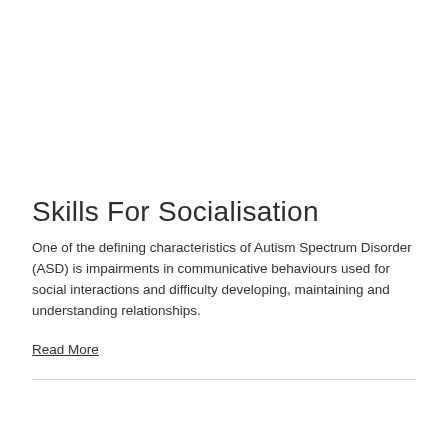Skills For Socialisation
One of the defining characteristics of Autism Spectrum Disorder (ASD) is impairments in communicative behaviours used for social interactions and difficulty developing, maintaining and understanding relationships.
Read More